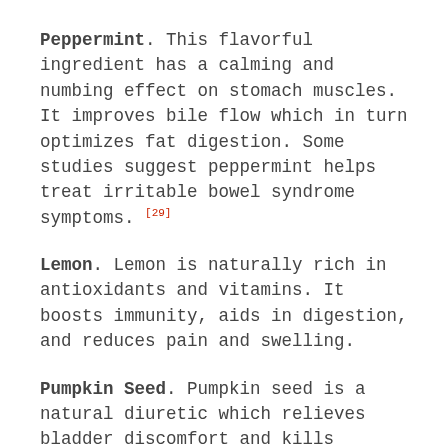Peppermint. This flavorful ingredient has a calming and numbing effect on stomach muscles. It improves bile flow which in turn optimizes fat digestion. Some studies suggest peppermint helps treat irritable bowel syndrome symptoms. [29]
Lemon. Lemon is naturally rich in antioxidants and vitamins. It boosts immunity, aids in digestion, and reduces pain and swelling.
Pumpkin Seed. Pumpkin seed is a natural diuretic which relieves bladder discomfort and kills bacteria. It is commonly recommended as a natural treatment for benign prostatic hyperplasia (BPH).
Marshmallow. Marshmallow forms a protective layer on the digestive tract. It contains chemicals that promote healing. Additionally, it may act as a diuretic, increasing urination. It may act as a...